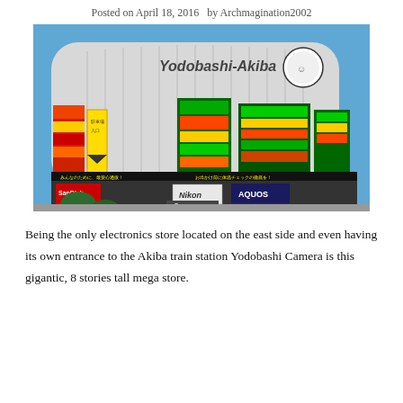Posted on April 18, 2016   by Archmagination2002
[Figure (photo): Exterior photo of Yodobashi-Akiba electronics store in Akihabara, Tokyo, showing the large rounded white building facade covered with colorful Japanese signage, neon advertisements, and brand logos including Nikon, Canon, and AQUOS, under a clear blue sky.]
Being the only electronics store located on the east side and even having its own entrance to the Akiba train station Yodobashi Camera is this gigantic, 8 stories tall mega store.